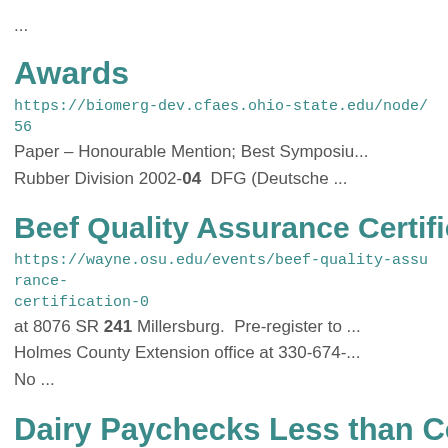...
Awards
https://biomerg-dev.cfaes.ohio-state.edu/node/56
Paper – Honourable Mention; Best Symposiu...
Rubber Division 2002-04  DFG (Deutsche ...
Beef Quality Assurance Certification
https://wayne.osu.edu/events/beef-quality-assurance-certification-0
at 8076 SR 241 Millersburg.  Pre-register to the Holmes County Extension office at 330-674-... No ...
Dairy Paychecks Less than Costs